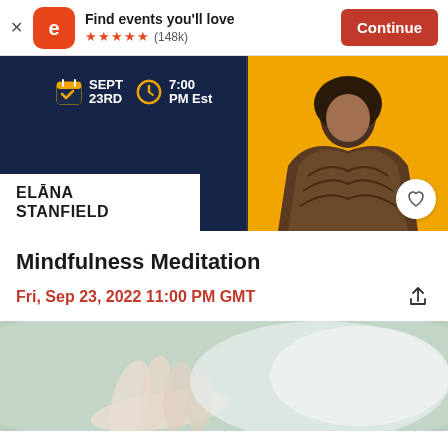[Figure (screenshot): Eventbrite app install banner with logo, 'Find events you'll love' text, 5-star rating (148k reviews), and Continue button]
[Figure (photo): Event promotional banner for Elana Stanfield event on Sept 23rd at 7:00 PM EST, dark navy background with orange accent, woman in fur coat]
Mindfulness Meditation
Fri, Sep 23, 2022 11:00 PM GMT
[Figure (photo): Blurred close-up photo of hands in a meditation or prayer pose outdoors]